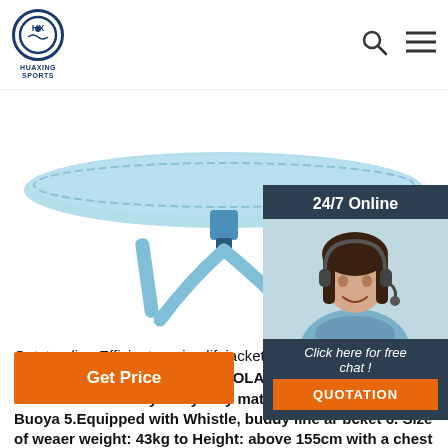[Figure (logo): Huaxing Sports logo - circular emblem with stylized figure and company name]
[Figure (photo): Marine lifejacket product photo on white background, light blue color with straps]
[Figure (photo): 24/7 Online chat agent - woman with headset smiling, dark background panel with Click here for free chat and QUOTATION button]
Outstanding Efficient marine lifejacket Alibaba.com
Marine Lifejacket for Adult 1. SOLAS 19 amended 2. Outer fabric material: Poly Buoyancy material: EPE foam 4. Buoya 5.Equipped with Whistle, buddy line ar bcket 6. Size of weaer weight: 43kg to Height: above 155cm with a chest girth of up 175cm. Add to Favorites. 1 6.
[Figure (other): Get Price orange button]
[Figure (other): TOP navigation button with orange dots arrow icon]